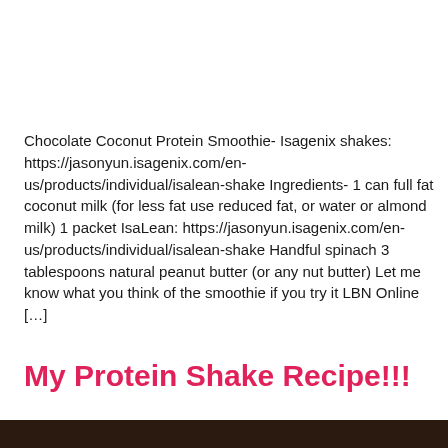Chocolate Coconut Protein Smoothie- Isagenix shakes: https://jasonyun.isagenix.com/en-us/products/individual/isalean-shake Ingredients- 1 can full fat coconut milk (for less fat use reduced fat, or water or almond milk) 1 packet IsaLean: https://jasonyun.isagenix.com/en-us/products/individual/isalean-shake Handful spinach 3 tablespoons natural peanut butter (or any nut butter) Let me know what you think of the smoothie if you try it LBN Online [...]
My Protein Shake Recipe!!!
[Figure (photo): Dark/brown bottom strip representing the bottom of a photo (partially visible)]